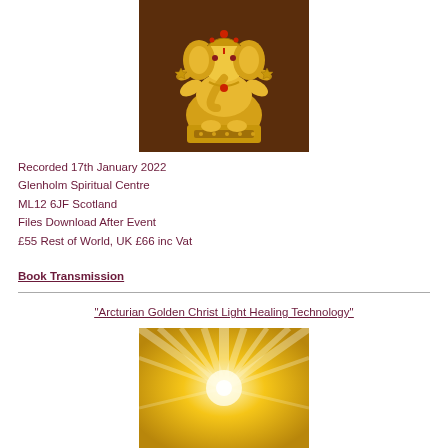[Figure (illustration): Golden Ganesha statue illustration on dark brown background, showing the elephant-headed Hindu deity seated in an ornate throne with four arms holding various objects, richly decorated with gold jewelry and ornaments]
Recorded 17th January 2022
Glenholm Spiritual Centre
ML12 6JF Scotland
Files Download After Event
£55 Rest of World, UK £66 inc Vat
Book Transmission
[Figure (illustration): Golden radiant light beams emanating from center on a golden background, spiritual/divine light rays effect]
“Arcturian Golden Christ Light Healing Technology”